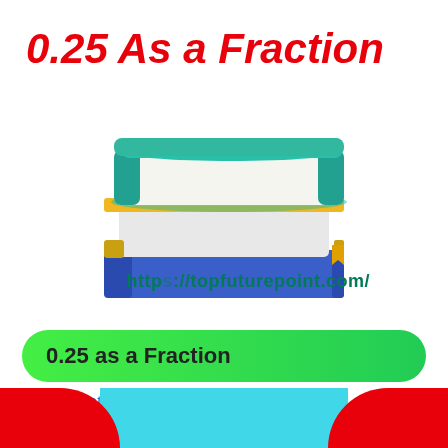0.25 As a Fraction
[Figure (illustration): Stack of three books: top book is teal/green, middle book is white with yellow bookmark, bottom book is blue. Watermark text 'https://topfuturepoint.com/' overlaid on the image.]
0.25 as a Fraction
Home, Mathematics
[Figure (illustration): Bottom banner with red sections on left and right (with curved inner corners) and cyan/light blue section in the center.]